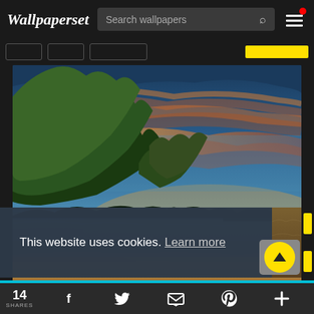Wallpaperset | Search wallpapers
[Figure (screenshot): Wallpaperset website screenshot showing a beach sunset landscape wallpaper with mountains and dramatic orange-blue sky, navigation header, cookie consent banner, and social sharing footer]
This website uses cookies. Learn more
14 SHARES